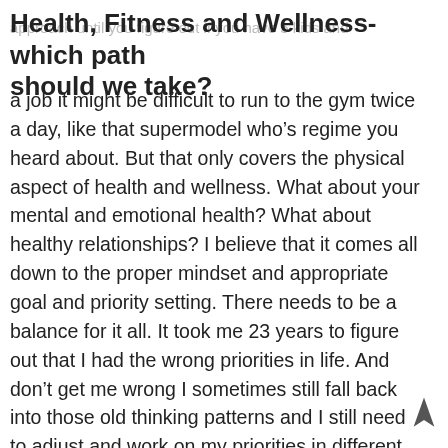Health, Fitness and Wellness- which path should we take?
a job it might be difficult to run to the gym twice a day, like that supermodel who’s regime you heard about. But that only covers the physical aspect of health and wellness. What about your mental and emotional health? What about healthy relationships? I believe that it comes all down to the proper mindset and appropriate goal and priority setting. There needs to be a balance for it all. It took me 23 years to figure out that I had the wrong priorities in life. And don’t get me wrong I sometimes still fall back into those old thinking patterns and I still need to adjust and work on my priorities in different aspect of my life to be balanced. But for most of my life, above everything else, I wanted to be skinny- no matter what. I used to